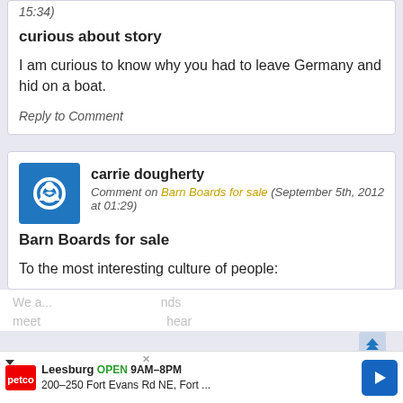15:34)
curious about story
I am curious to know why you had to leave Germany and hid on a boat.
Reply to Comment
carrie dougherty
Comment on Barn Boards for sale (September 5th, 2012 at 01:29)
Barn Boards for sale
To the most interesting culture of people:
We a...nds meet...hear that y...and
[Figure (advertisement): Petco advertisement: Leesburg OPEN 9AM-8PM, 200-250 Fort Evans Rd NE, Fort...]